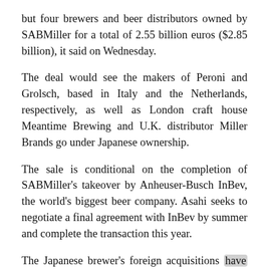but four brewers and beer distributors owned by SABMiller for a total of 2.55 billion euros ($2.85 billion), it said on Wednesday.
The deal would see the makers of Peroni and Grolsch, based in Italy and the Netherlands, respectively, as well as London craft house Meantime Brewing and U.K. distributor Miller Brands go under Japanese ownership.
The sale is conditional on the completion of SABMiller's takeover by Anheuser-Busch InBev, the world's biggest beer company. Asahi seeks to negotiate a final agreement with InBev by summer and complete the transaction this year.
The Japanese brewer's foreign acquisitions have hitherto been concentrated in the Asia-Pacific region.